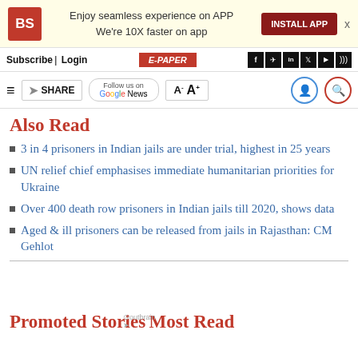BS | Enjoy seamless experience on APP | We're 10X faster on app | INSTALL APP
Subscribe | Login | E-PAPER
Also Read
3 in 4 prisoners in Indian jails are under trial, highest in 25 years
UN relief chief emphasises immediate humanitarian priorities for Ukraine
Over 400 death row prisoners in Indian jails till 2020, shows data
Aged & ill prisoners can be released from jails in Rajasthan: CM Gehlot
Promoted Stories
Most Read